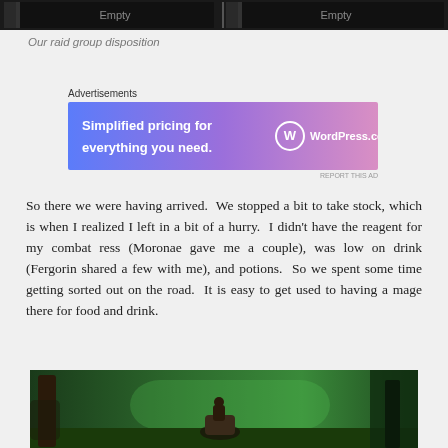[Figure (screenshot): Dark UI screenshot showing two 'Empty' slots in a raid group disposition interface]
Our raid group disposition
[Figure (screenshot): WordPress.com advertisement banner: 'Simplified pricing for everything you need.' with WordPress.com logo on blue-purple gradient background]
So there we were having arrived.  We stopped a bit to take stock, which is when I realized I left in a bit of a hurry.  I didn't have the reagent for my combat ress (Moronae gave me a couple), was low on drink (Fergorin shared a few with me), and potions.  So we spent some time getting sorted out on the road.  It is easy to get used to having a mage there for food and drink.
[Figure (screenshot): In-game screenshot showing a character on a mount in a green-tinted forest environment]